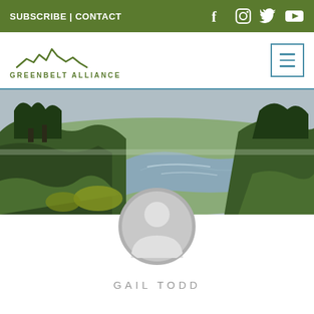SUBSCRIBE | CONTACT
[Figure (logo): Greenbelt Alliance logo with mountain/hill line drawing and text GREENBELT ALLIANCE]
[Figure (photo): Landscape panorama photo of a river or estuary winding through green hills with trees and overcast sky]
[Figure (illustration): Generic circular user avatar placeholder icon (gray circle with person silhouette)]
GAIL TODD